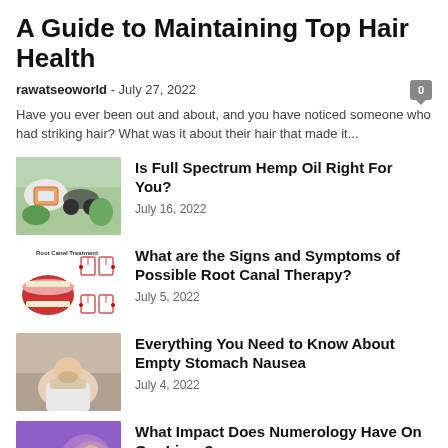A Guide to Maintaining Top Hair Health
rawatseoworld - July 27, 2022
Have you ever been out and about, and you have noticed someone who had striking hair? What was it about their hair that made it...
[Figure (photo): Medical devices including blood glucose meter and stethoscope with vegetables]
Is Full Spectrum Hemp Oil Right For You?
July 16, 2022
[Figure (illustration): Root Canal Treatment diagram showing teeth cross-sections and open mouth]
What are the Signs and Symptoms of Possible Root Canal Therapy?
July 5, 2022
[Figure (photo): Person sitting with head in hands appearing distressed]
Everything You Need to Know About Empty Stomach Nausea
July 4, 2022
[Figure (photo): Purple background with text about numerology and a face]
What Impact Does Numerology Have On Our Lives?